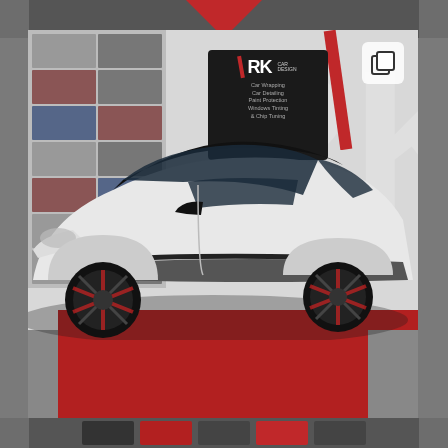[Figure (photo): A white Citroën DS3 hatchback with black roof and black alloy wheels with red accents, parked inside the RK Car Design garage. The garage has red and grey interlocking tile flooring, a wall displaying photos of wrapped cars on the left, large 'RK' letters on the right wall, and an 'RK Car Design' sign in the centre background listing services: Car Wrapping, Car Detailing, Paint Protection, Windows Tinting & Chip Tuning. A copy/layer icon is visible in the top right of the photo. Above and below the main photo are grey strips with red accents and thumbnail images.]